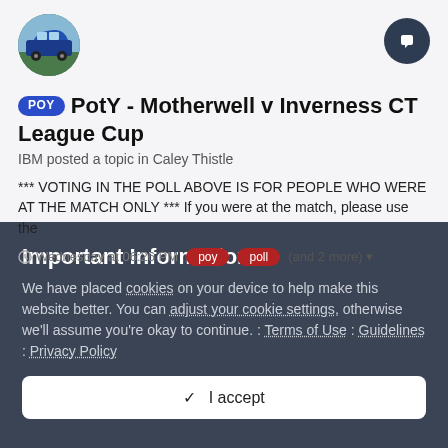[Figure (photo): User avatar showing a blue car]
[Figure (illustration): Chat/comment button icon (dark circle with speech bubble)]
POY  PotY - Motherwell v Inverness CT League Cup
IBM posted a topic in Caley Thistle
*** VOTING IN THE POLL ABOVE IS FOR PEOPLE WHO WERE AT THE MATCH ONLY *** If you were at the match, please use the
Wednesday at 06:26 PM   poy   poll   (and 2 more)
Important Information
We have placed cookies on your device to help make this website better. You can adjust your cookie settings, otherwise we'll assume you're okay to continue. : Terms of Use : Guidelines : Privacy Policy
✓  I accept